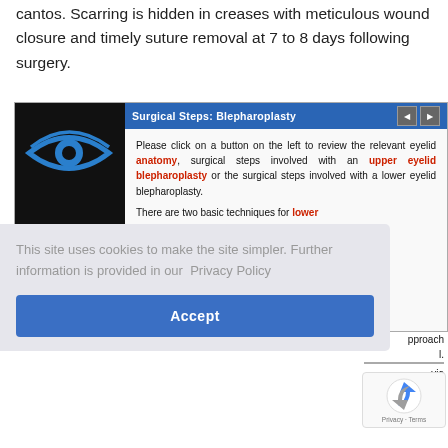cantos. Scarring is hidden in creases with meticulous wound closure and timely suture removal at 7 to 8 days following surgery.
[Figure (screenshot): Interactive educational module titled 'Surgical Steps: Blepharoplasty'. Left panel shows a stylized eye logo on dark background with navigation buttons (Anatomy, Upper). Right panel contains text about clicking buttons to review eyelid anatomy, upper eyelid blepharoplasty, and lower eyelid blepharoplasty surgical steps.]
This site uses cookies to make the site simpler. Further information is provided in our Privacy Policy
Accept